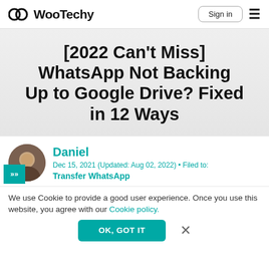WooTechy | Sign in
[2022 Can't Miss] WhatsApp Not Backing Up to Google Drive? Fixed in 12 Ways
Daniel
Dec 15, 2021 (Updated: Aug 02, 2022) • Filed to: Transfer WhatsApp
We use Cookie to provide a good user experience. Once you use this website, you agree with our Cookie policy.
OK, GOT IT